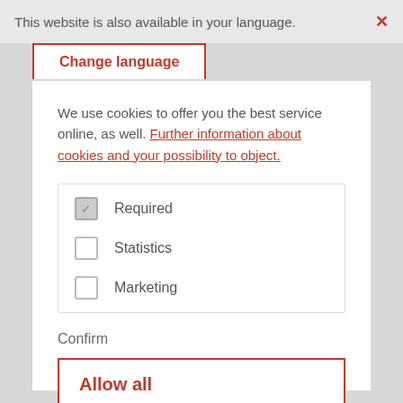This website is also available in your language. ×
Change language
We use cookies to offer you the best service online, as well. Further information about cookies and your possibility to object.
Required (checked)
Statistics (unchecked)
Marketing (unchecked)
Confirm
Allow all